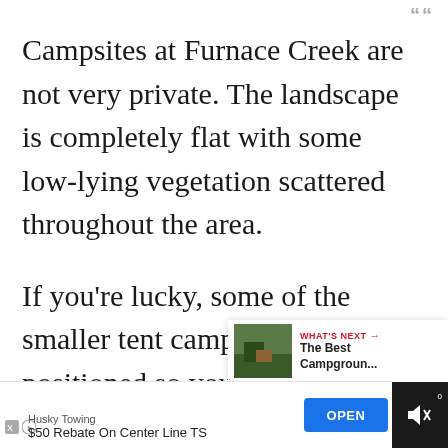Campsites at Furnace Creek are not very private. The landscape is completely flat with some low-lying vegetation scattered throughout the area.
If you're lucky, some of the smaller tent camping sites are positioned so you can tuck your tent beneath the trees. All sites have a picnic table and a
[Figure (screenshot): UI overlay with heart (favourite) button in red circle and share button in white circle]
[Figure (screenshot): What's Next card showing a campground thumbnail image with label 'WHAT'S NEXT → The Best Campgroun...']
[Figure (screenshot): Advertisement bar at bottom: Husky Towing, $50 Rebate On Center Line TS, with OPEN button and mute icon on dark right side]